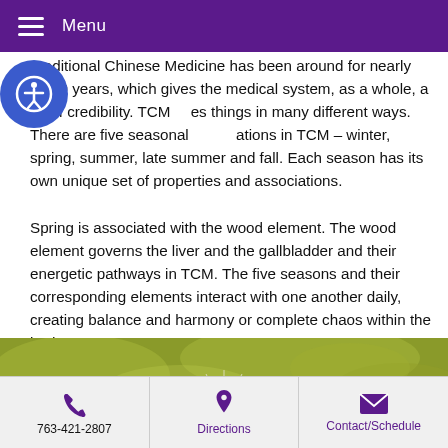Menu
Traditional Chinese Medicine has been around for nearly 3,000 years, which gives the medical system, as a whole, a lot of credibility. TCM [sees] things in many different ways. There are five seasonal [associ]ations in TCM – winter, spring, summer, late summer and fall. Each season has its own unique set of properties and associations. Spring is associated with the wood element. The wood element governs the liver and the gallbladder and their energetic pathways in TCM. The five seasons and their corresponding elements interact with one another daily, creating balance and harmony or complete chaos within the body.
[Figure (photo): A dandelion seed head in close-up with a blurred green background]
763-421-2807 | Directions | Contact/Schedule